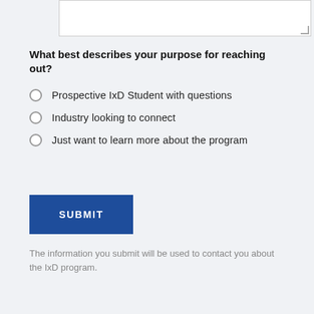[Figure (screenshot): Textarea input box with resize handle in bottom-right corner]
What best describes your purpose for reaching out?
Prospective IxD Student with questions
Industry looking to connect
Just want to learn more about the program
[Figure (screenshot): SUBMIT button in dark blue]
The information you submit will be used to contact you about the IxD program.